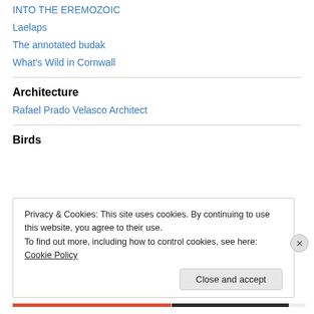INTO THE EREMOZOIC
Laelaps
The annotated budak
What's Wild in Cornwall
Architecture
Rafael Prado Velasco Architect
Birds
Privacy & Cookies: This site uses cookies. By continuing to use this website, you agree to their use.
To find out more, including how to control cookies, see here: Cookie Policy
Close and accept